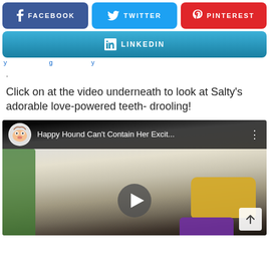[Figure (screenshot): Social media share buttons: Facebook (blue), Twitter (cyan), Pinterest (red) in a row, and LinkedIn (blue gradient) below]
y ... g ... y
.
Click on at the video underneath to look at Salty's adorable love-powered teeth- drooling!
[Figure (screenshot): YouTube video embed showing 'Happy Hound Can't Contain Her Excit...' with a white dog looking up, holding a yellow and purple toy]